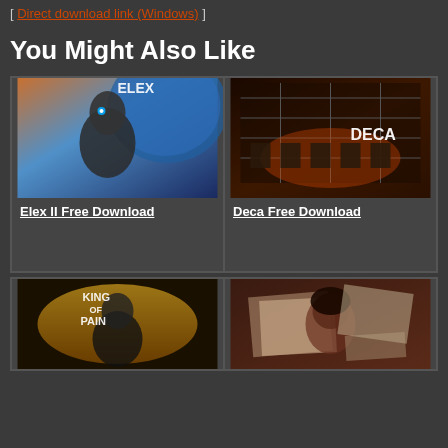[ Direct download link (Windows) ]
You Might Also Like
[Figure (photo): Elex II game cover art showing a futuristic armored character with glowing blue eye against a space background with text ELEX]
Elex II Free Download
[Figure (photo): Deca game cover art showing a dark atmospheric scene with chairs/machinery in an orange-lit industrial setting with DECA text]
Deca Free Download
[Figure (photo): King of Pain game cover art showing stylized yellow and black artwork with character]
[Figure (photo): Screenshot showing a photo of a woman with dark hair alongside what appears to be documents]